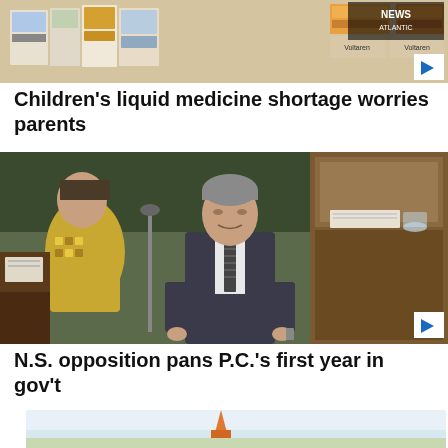[Figure (photo): Pharmacy/medicine shelf with various medication boxes including Voltaren products, with CBC News Atlantic logo overlay in top right corner]
Children's liquid medicine shortage worries parents
[Figure (photo): Man in suit speaking at a podium in what appears to be a legislative chamber. A woman in a yellow patterned blouse is visible in the background.]
N.S. opposition pans P.C.'s first year in gov't
[Figure (photo): Partial view of a third news story thumbnail, appears to show an outdoor scene with orange/warm tones]